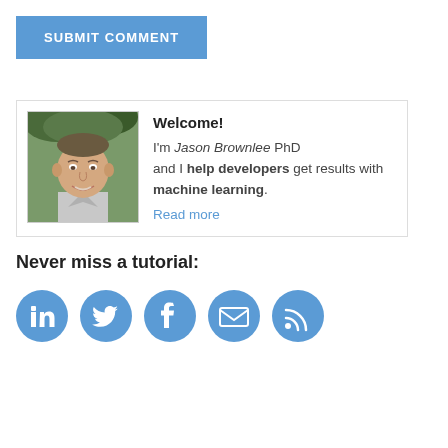[Figure (other): Blue submit comment button]
[Figure (photo): Profile section with photo of Jason Brownlee PhD and welcome text with Read more link]
Welcome! I'm Jason Brownlee PhD and I help developers get results with machine learning. Read more
Never miss a tutorial:
[Figure (infographic): Five social media icons: LinkedIn, Twitter, Facebook, Email, RSS feed]